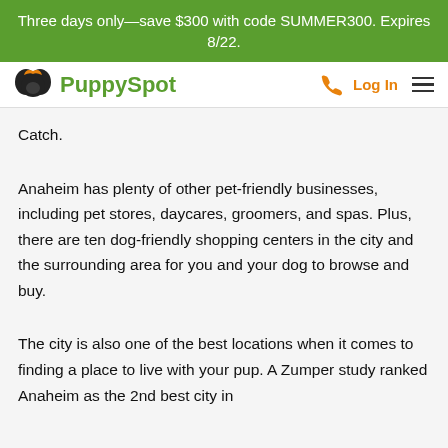Three days only—save $300 with code SUMMER300. Expires 8/22.
PuppySpot | Log In
Catch.
Anaheim has plenty of other pet-friendly businesses, including pet stores, daycares, groomers, and spas. Plus, there are ten dog-friendly shopping centers in the city and the surrounding area for you and your dog to browse and buy.
The city is also one of the best locations when it comes to finding a place to live with your pup. A Zumper study ranked Anaheim as the 2nd best city in